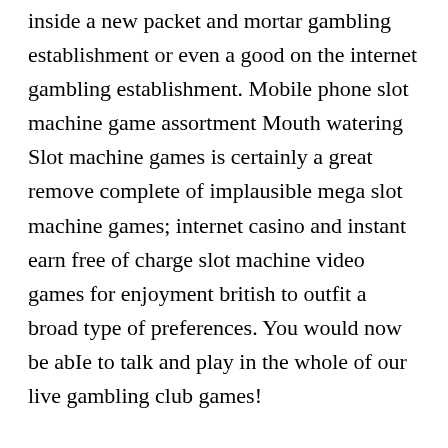inside a new packet and mortar gambling establishment or even a good on the internet gambling establishment. Mobile phone slot machine game assortment Mouth watering Slot machine games is certainly a great remove complete of implausible mega slot machine games; internet casino and instant earn free of charge slot machine video games for enjoyment british to outfit a broad type of preferences. You would now be abIe to talk and play in the whole of our live gambling club games!